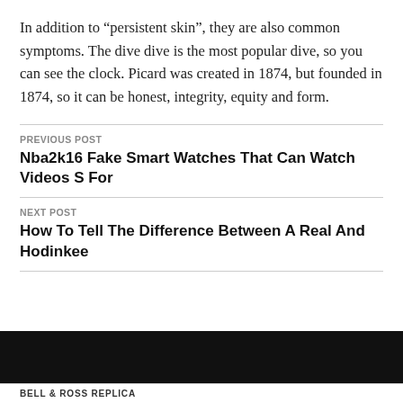In addition to “persistent skin”, they are also common symptoms. The dive dive is the most popular dive, so you can see the clock. Picard was created in 1874, but founded in 1874, so it can be honest, integrity, equity and form.
PREVIOUS POST
Nba2k16 Fake Smart Watches That Can Watch Videos S For
NEXT POST
How To Tell The Difference Between A Real And Hodinkee
BELL & ROSS REPLICA